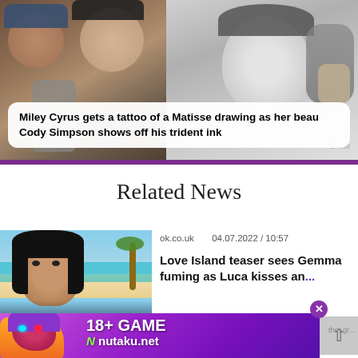[Figure (photo): Photo collage: left side shows a couple taking a mirror selfie (woman in beanie and man in dark shirt), right side shows a black and white photo of a woman making a face while someone else is near her neck]
Miley Cyrus gets a tattoo of a Matisse drawing as her beau Cody Simpson shows off his trident ink
Related News
[Figure (photo): Thumbnail photo of a young woman with long dark hair at a tropical beach location with turquoise water and palm trees in the background]
ok.co.uk   04.07.2022 / 10:57
Love Island teaser sees Gemma fuming as Luca kisses an...
[Figure (illustration): Advertisement banner for nutaku.net featuring an animated female character with purple hair, red glowing eyes, and text reading '18+ GAME nutaku.net']